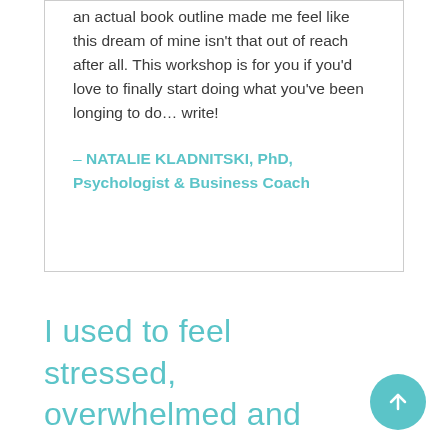an actual book outline made me feel like this dream of mine isn't that out of reach after all. This workshop is for you if you'd love to finally start doing what you've been longing to do… write!
– NATALIE KLADNITSKI, PhD, Psychologist & Business Coach
I used to feel stressed, overwhelmed and